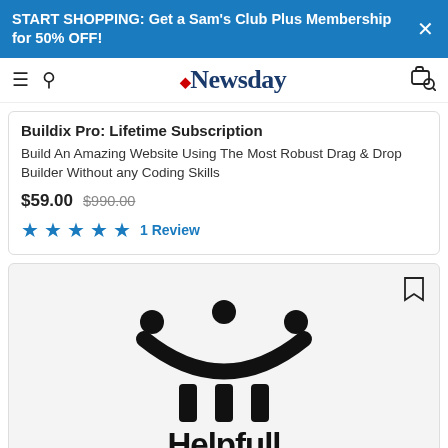START SHOPPING: Get a Sam's Club Plus Membership for 50% OFF!
Newsday navigation bar
Buildix Pro: Lifetime Subscription
Build An Amazing Website Using The Most Robust Drag & Drop Builder Without any Coding Skills
$59.00  $990.00  ★★★★★  1 Review
[Figure (logo): Helpfull logo — smiley face icon above stylized letter i characters, with text 'Helpfull' below]